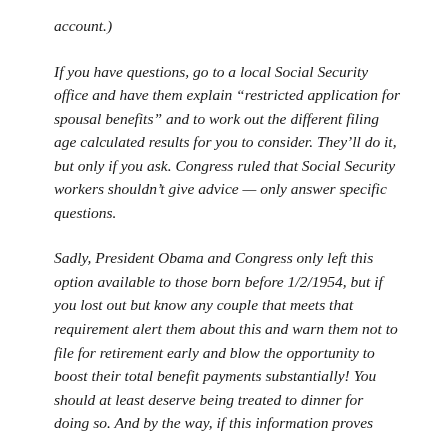account.)
If you have questions, go to a local Social Security office and have them explain “restricted application for spousal benefits” and to work out the different filing age calculated results for you to consider. They’ll do it, but only if you ask. Congress ruled that Social Security workers shouldn’t give advice — only answer specific questions.
Sadly, President Obama and Congress only left this option available to those born before 1/2/1954, but if you lost out but know any couple that meets that requirement alert them about this and warn them not to file for retirement early and blow the opportunity to boost their total benefit payments substantially! You should at least deserve being treated to dinner for doing so. And by the way, if this information proves